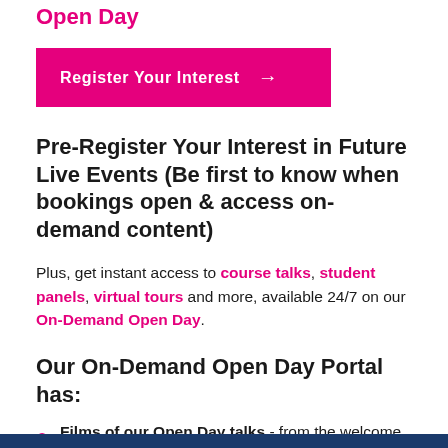Open Day
Register Your Interest →
Pre-Register Your Interest in Future Live Events (Be first to know when bookings open & access on-demand content)
Plus, get instant access to course talks, student panels, virtual tours and more, available 24/7 on our On-Demand Open Day.
Our On-Demand Open Day Portal has:
Films of our Open Day talks - from the welcome talk to course talks, international student support and more
Hear from students – hear about life at the